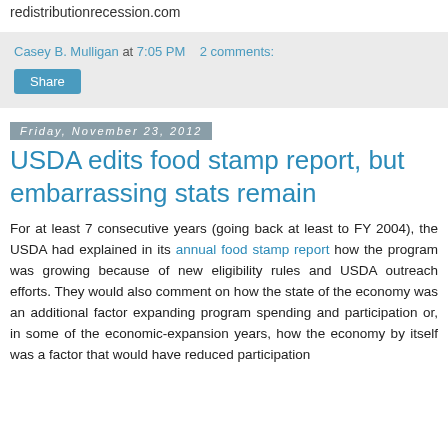redistributionrecession.com
Casey B. Mulligan at 7:05 PM   2 comments:
Share
Friday, November 23, 2012
USDA edits food stamp report, but embarrassing stats remain
For at least 7 consecutive years (going back at least to FY 2004), the USDA had explained in its annual food stamp report how the program was growing because of new eligibility rules and USDA outreach efforts. They would also comment on how the state of the economy was an additional factor expanding program spending and participation or, in some of the economic-expansion years, how the economy by itself was a factor that would have reduced participation